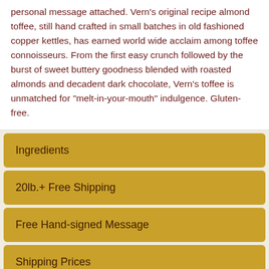personal message attached. Vern's original recipe almond toffee, still hand crafted in small batches in old fashioned copper kettles, has earned world wide acclaim among toffee connoisseurs. From the first easy crunch followed by the burst of sweet buttery goodness blended with roasted almonds and decadent dark chocolate, Vern's toffee is unmatched for "melt-in-your-mouth" indulgence. Gluten-free.
Ingredients
20lb.+ Free Shipping
Free Hand-signed Message
Shipping Prices